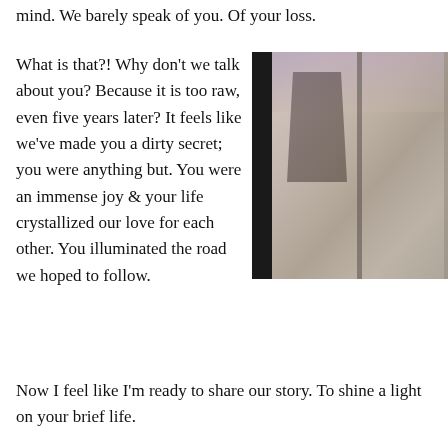mind. We barely speak of you. Of your loss.
What is that?! Why don't we talk about you? Because it is too raw, even five years later? It feels like we've made you a dirty secret; you were anything but. You were an immense joy & your life crystallized our love for each other. You illuminated the road we hoped to follow.
[Figure (photo): A photograph of a window with blinds or shades, showing a reflection or shadow of buildings on the surface, with a dark left border and purplish-pink sky visible at the top.]
Now I feel like I'm ready to share our story. To shine a light on your brief life.